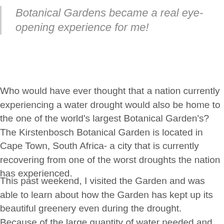Botanical Gardens became a real eye-opening experience for me!
Who would have ever thought that a nation currently experiencing a water drought would also be home to the one of the world's largest Botanical Garden's? The Kirstenbosch Botanical Garden is located in Cape Town, South Africa- a city that is currently recovering from one of the worst droughts the nation has experienced.
This past weekend, I visited the Garden and was able to learn about how the Garden has kept up its beautiful greenery even during the drought. Because of the large quantity of water needed and other